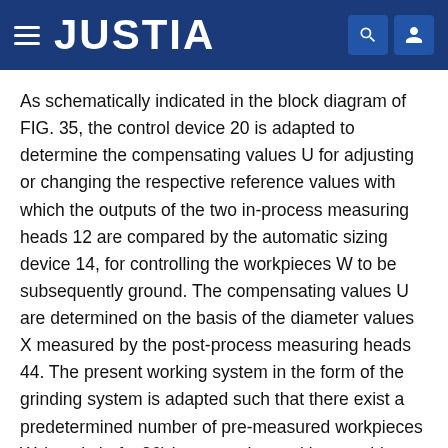JUSTIA
As schematically indicated in the block diagram of FIG. 35, the control device 20 is adapted to determine the compensating values U for adjusting or changing the respective reference values with which the outputs of the two in-process measuring heads 12 are compared by the automatic sizing device 14, for controlling the workpieces W to be subsequently ground. The compensating values U are determined on the basis of the diameter values X measured by the post-process measuring heads 44. The present working system in the form of the grinding system is adapted such that there exist a predetermined number of pre-measured workpieces W (crankshafts 26) between the working machine (grinding machine 10 and the post-measuring device 16. Thus, the present feedback control can be considered to be applied to a control system which